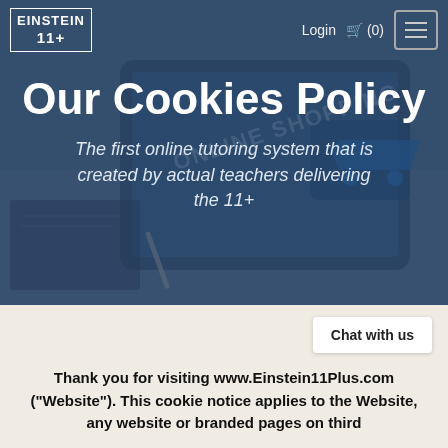EINSTEIN 11+ | Login | (0)
Our Cookies Policy
The first online tutoring system that is created by actual teachers delivering the 11+
[Figure (photo): Background photo of a hand holding a tablet showing 'ONLINE SHOPPING' with a blue shopping cart interface]
Chat with us
Thank you for visiting www.Einstein11Plus.com ("Website"). This cookie notice applies to the Website, any website or branded pages on third